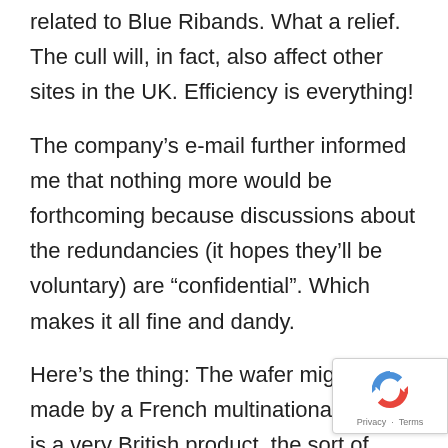related to Blue Ribands. What a relief. The cull will, in fact, also affect other sites in the UK. Efficiency is everything!
The company's e-mail further informed me that nothing more would be forthcoming because discussions about the redundancies (it hopes they'll be voluntary) are “confidential”. Which makes it all fine and dandy.
Here’s the thing: The wafer might be made by a French multinational, but it is a very British product, the sort of